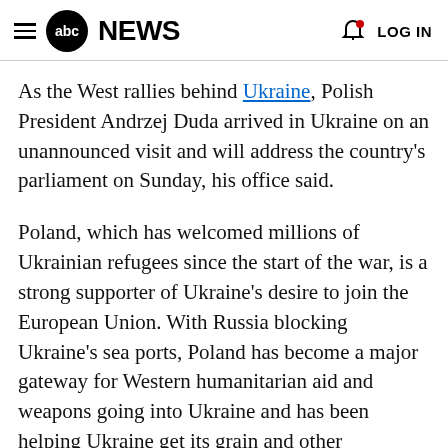abc NEWS   LOG IN
As the West rallies behind Ukraine, Polish President Andrzej Duda arrived in Ukraine on an unannounced visit and will address the country's parliament on Sunday, his office said.
Poland, which has welcomed millions of Ukrainian refugees since the start of the war, is a strong supporter of Ukraine's desire to join the European Union. With Russia blocking Ukraine's sea ports, Poland has become a major gateway for Western humanitarian aid and weapons going into Ukraine and has been helping Ukraine get its grain and other